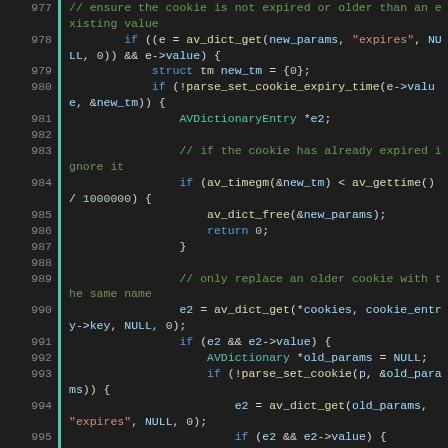[Figure (screenshot): Source code viewer showing C code lines 977-998 with syntax highlighting. Line numbers in gray on left, green vertical bar indicator, code with multi-color syntax highlighting on dark background.]